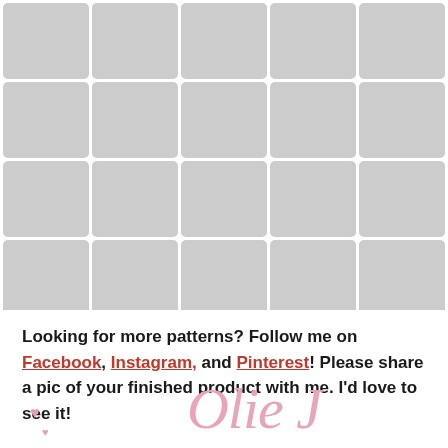[Figure (photo): A 5x4 grid of photos showing various crocheted Mickey Mouse ear appliques and character-themed crochet items in different holiday and character themes]
Looking for more patterns? Follow me on Facebook, Instagram, and Pinterest! Please share a pic of your finished product with me. I'd love to see it!
[Figure (illustration): Pink hearts decoration and cursive signature/logo text in pink script font reading 'Olie J' or similar]